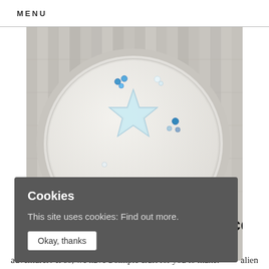MENU
[Figure (photo): A craft dish/plate decorated with iridescent star, blue and clear rhinestones/sequins, glitter, on a whitewashed wood background. Partially obscured title text visible at bottom: 'Making Elien Saucer -']
Cookies
This site uses cookies: Find out more.
Okay, thanks
alien adventurer? If so, we have a simple craft for you to make.